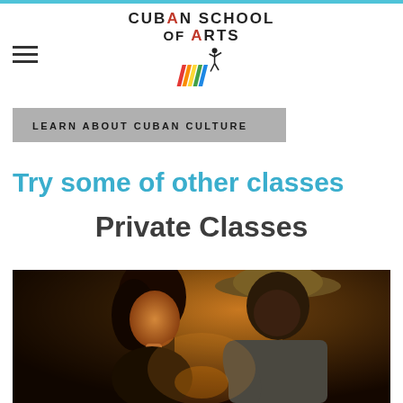Cuban School of Arts — navigation header with logo and hamburger menu
LEARN ABOUT CUBAN CULTURE
Try some of other classes
Private Classes
[Figure (photo): A male dance instructor in a cowboy hat leaning over a female student during a private dance class, lit with warm amber tones.]